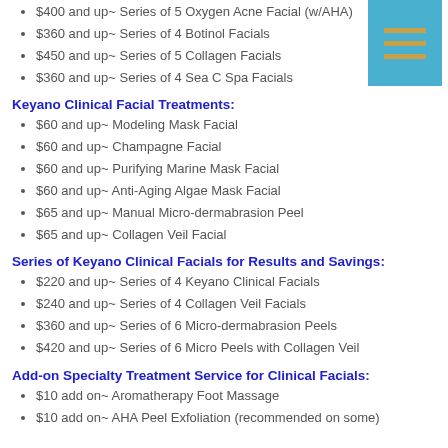$400 and up~ Series of 5 Oxygen Acne Facial (w/AHA)
$360 and up~ Series of 4 Botinol Facials
$450 and up~ Series of 5 Collagen Facials
$360 and up~ Series of 4 Sea C Spa Facials
Keyano Clinical Facial Treatments:
$60 and up~ Modeling Mask Facial
$60 and up~ Champagne Facial
$60 and up~ Purifying Marine Mask Facial
$60 and up~ Anti-Aging Algae Mask Facial
$65 and up~ Manual Micro-dermabrasion Peel
$65 and up~ Collagen Veil Facial
Series of Keyano Clinical Facials for Results and Savings:
$220 and up~ Series of 4 Keyano Clinical Facials
$240 and up~ Series of 4 Collagen Veil Facials
$360 and up~ Series of 6 Micro-dermabrasion Peels
$420 and up~ Series of 6 Micro Peels with Collagen Veil
Add-on Specialty Treatment Service for Clinical Facials:
$10 add on~ Aromatherapy Foot Massage
$10 add on~ AHA Peel Exfoliation (recommended on some)
$15 add on~ LED Light Therapy (recommended on certain facials)